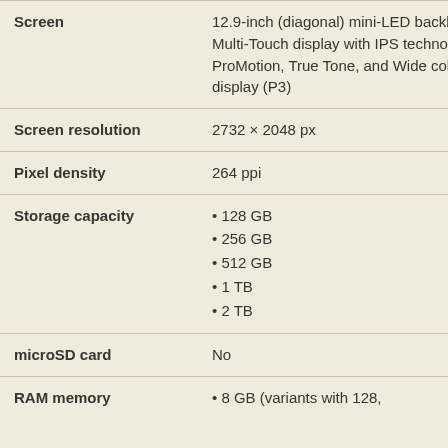| Attribute | Value |
| --- | --- |
| Screen | 12.9-inch (diagonal) mini-LED backlit Multi-Touch display with IPS technology, ProMotion, True Tone, and Wide color display (P3) |
| Screen resolution | 2732 × 2048 px |
| Pixel density | 264 ppi |
| Storage capacity | • 128 GB
• 256 GB
• 512 GB
• 1 TB
• 2 TB |
| microSD card | No |
| RAM memory | • 8 GB (variants with 128, |